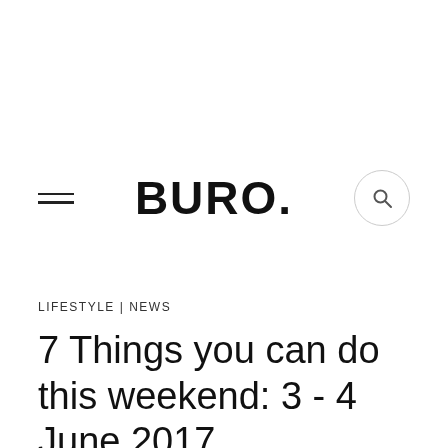BURO.
LIFESTYLE | NEWS
7 Things you can do this weekend: 3 - 4 June 2017
First weekend of June